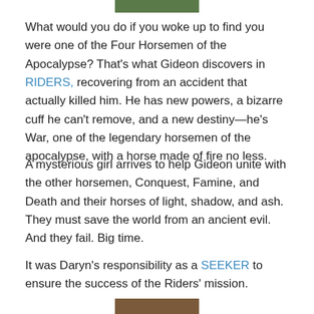[Figure (photo): Partial image at top of page, green/nature tones]
What would you do if you woke up to find you were one of the Four Horsemen of the Apocalypse? That's what Gideon discovers in RIDERS, recovering from an accident that actually killed him. He has new powers, a bizarre cuff he can't remove, and a new destiny—he's War, one of the legendary horsemen of the apocalypse, with a horse made of fire no less.
A mysterious girl arrives to help Gideon unite with the other horsemen, Conquest, Famine, and Death and their horses of light, shadow, and ash. They must save the world from an ancient evil. And they fail. Big time.
It was Daryn's responsibility as a SEEKER to ensure the success of the Riders' mission.
[Figure (photo): Partial image at bottom of page, brown/warm tones]